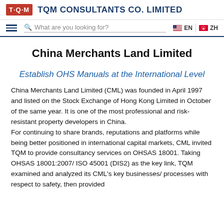TQM CONSULTANTS CO. LIMITED
Establish OHS Manuals at the International Level
China Merchants Land Limited
China Merchants Land Limited (CML) was founded in April 1997 and listed on the Stock Exchange of Hong Kong Limited in October of the same year. It is one of the most professional and risk-resistant property developers in China. For continuing to share brands, reputations and platforms while being better positioned in international capital markets, CML invited TQM to provide consultancy services on OHSAS 18001. Taking OHSAS 18001:2007/ ISO 45001 (DIS2) as the key link, TQM examined and analyzed its CML's key businesses/ processes with respect to safety, then provided